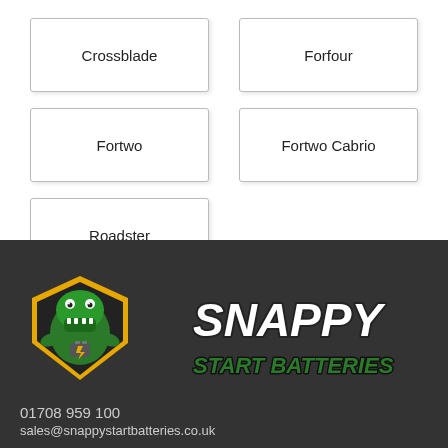Crossblade
Forfour
Fortwo
Fortwo Cabrio
Roadster
[Figure (logo): Snappy Start Batteries logo: green crocodile/dragon on a yellow and black shield, with SNAPPY START BATTERIES text in white bold italic with dark outline]
01708 959 100
sales@snappystartbatteries.co.uk